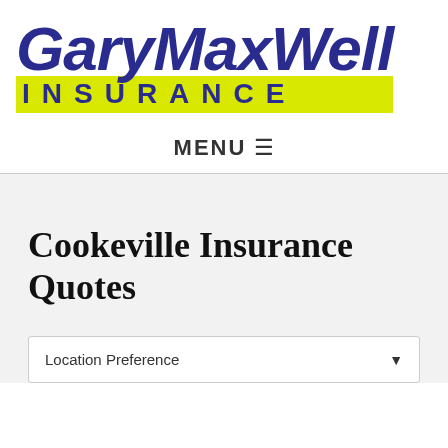[Figure (logo): Gary Maxwell Insurance logo with large italic blue text 'GaryMaxwell' and yellow highlighted bar with blue spaced letters 'INSURANCE']
MENU ☰
Cookeville Insurance Quotes
Location Preference